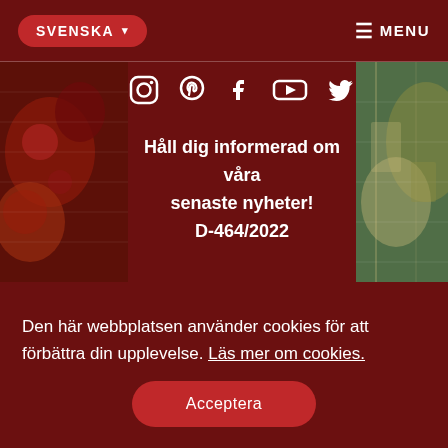SVENSKA ▾   ☰ MENU
[Figure (screenshot): Website screenshot showing a dark red navigation bar with SVENSKA language button and MENU icon, social media icons (Instagram, Pinterest, Facebook, YouTube, Twitter), decorative textile/craft images on left and right sides, center text 'Håll dig informerad om våra senaste nyheter! D-464/2022', and a cookie consent bar at the bottom with text 'Den här webbplatsen använder cookies för att förbättra din upplevelse. Läs mer om cookies.' and an Acceptera button.]
Håll dig informerad om våra senaste nyheter! D-464/2022
Den här webbplatsen använder cookies för att förbättra din upplevelse. Läs mer om cookies.
Acceptera